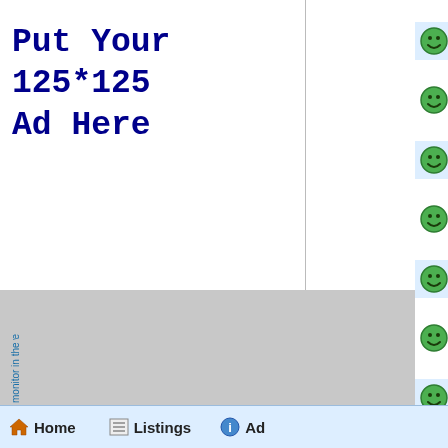[Figure (illustration): Advertisement placeholder block with text 'Put Your 125*125 Ad Here' in dark blue monospace font on white background]
ihyips.com - the most re monitor in the world
Admin Voted | Paid to Ihyips.com- The Best HYIP & AutoSurf you Admin!
Admin Voted | Paid to Ihyips.com- The Best HYIP & AutoSurf you Admin!
Admin Voted | Paid to Ihyips.com- The Best HYIP & AutoSurf you Admin!
Admin Voted | Paid to Ihyips.com- The Best HYIP & AutoSurf you Admin!
Admin Voted | Paid to Ihyips.com- The Best HYIP & AutoSurf you Admin!
Admin Voted | Paid to Ihyips.com- The Best HYIP & AutoSurf you Admin!
Admin Voted | Paid to Ihyips.com- The Best HYIP & AutoSurf you Admin!
Home | Listings | Ad